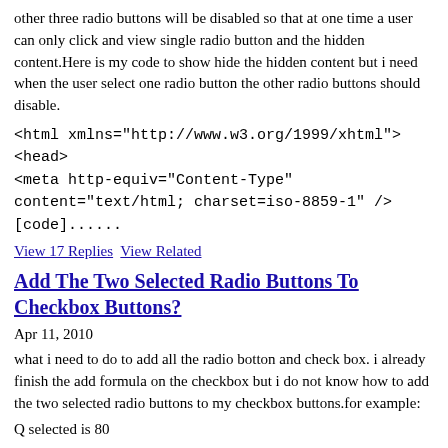other three radio buttons will be disabled so that at one time a user can only click and view single radio button and the hidden content.Here is my code to show hide the hidden content but i need when the user select one radio button the other radio buttons should disable.
<html xmlns="http://www.w3.org/1999/xhtml">
<head>
<meta http-equiv="Content-Type" content="text/html; charset=iso-8859-1" />[code]......
View 17 Replies   View Related
Add The Two Selected Radio Buttons To Checkbox Buttons?
Apr 11, 2010
what i need to do to add all the radio botton and check box. i already finish the add formula on the checkbox but i do not know how to add the two selected radio buttons to my checkbox buttons.for example:
Q selected is 80